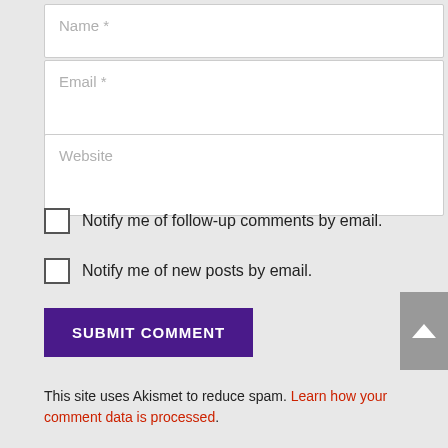Name *
Email *
Website
Notify me of follow-up comments by email.
Notify me of new posts by email.
SUBMIT COMMENT
This site uses Akismet to reduce spam. Learn how your comment data is processed.